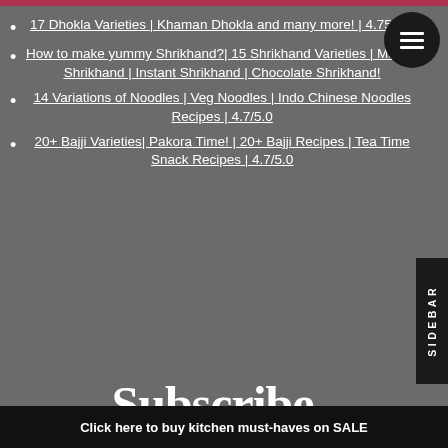17 Dhokla Varieties | Khaman Dhokla and many more! | 4.75/5.0
How to make yummy Shrikhand?| 15 Shrikhand Varieties | Mango Shrikhand | Instant Shrikhand | Chocolate Shrikhand!
14 Variations of Noodles | Veg Noodles | Indo Chinese Noodles Recipes | 4.7/5.0
20+ Bajji Varieties| Pakora Time! | 20+ Bajji Recipes | Tea Time Snack Recipes | 4.7/5.0
Subscribe..
Email Address
Subscribe
Click here to buy kitchen must-haves on SALE